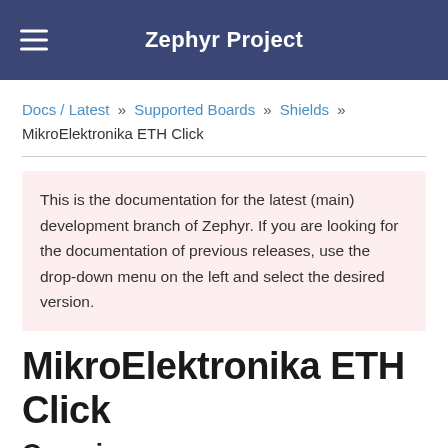Zephyr Project
Docs / Latest » Supported Boards » Shields » MikroElektronika ETH Click
This is the documentation for the latest (main) development branch of Zephyr. If you are looking for the documentation of previous releases, use the drop-down menu on the left and select the desired version.
MikroElektronika ETH Click
Overview